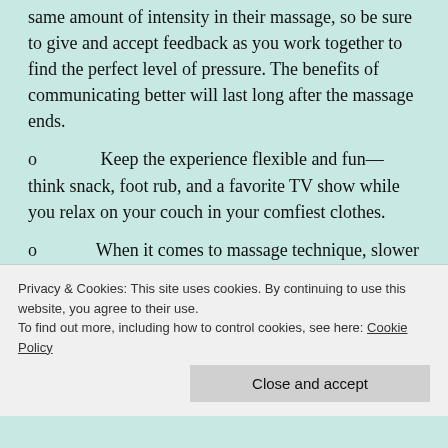same amount of intensity in their massage, so be sure to give and accept feedback as you work together to find the perfect level of pressure. The benefits of communicating better will last long after the massage ends.
o   Keep the experience flexible and fun—think snack, foot rub, and a favorite TV show while you relax on your couch in your comfiest clothes.
o   When it comes to massage technique, slower is better. Also
Privacy & Cookies: This site uses cookies. By continuing to use this website, you agree to their use. To find out more, including how to control cookies, see here: Cookie Policy